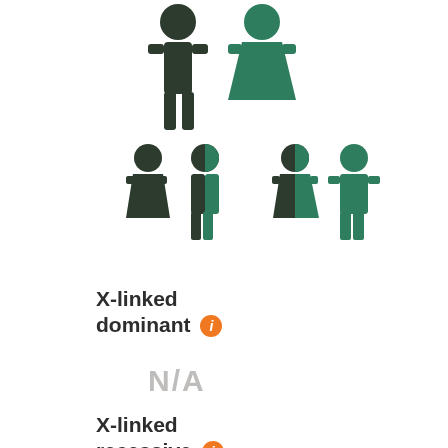[Figure (illustration): Genetic inheritance diagram showing X-linked dominant pattern. Two parent figures (dark male and green female) at top, with four children below split into two groups: left group has dark girl, half-dark/half-green boy, right group has half-dark/half-green girl and green boy. Figures represent carrier/affected status.]
X-linked dominant ℹ
N/A
X-linked recessive ℹ
N/A